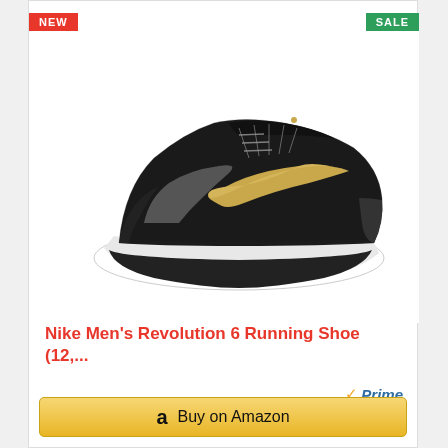[Figure (photo): Nike Men's Revolution 6 Running Shoe in black with gold Nike swoosh and white sole, shown from a side/front angle on white background]
Nike Men's Revolution 6 Running Shoe (12,...
Prime
$80.40
Buy on Amazon